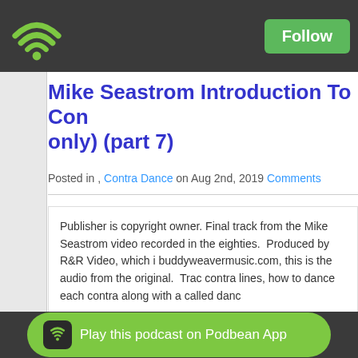Podbean app header with wifi logo and Follow button
Mike Seastrom Introduction To Contra Dance (audio only) (part 7)
Posted in , Contra Dance on Aug 2nd, 2019 Comments
Publisher is copyright owner. Final track from the Mike Seastrom video recorded in the eighties. Produced by R&R Video, which is buddyweavermusic.com, this is the audio from the original. Tracks cover contra lines, how to dance each contra along with a called dance.

Provided compliments of buddyweavermusic.com
Read Full Post »
Play this podcast on Podbean App